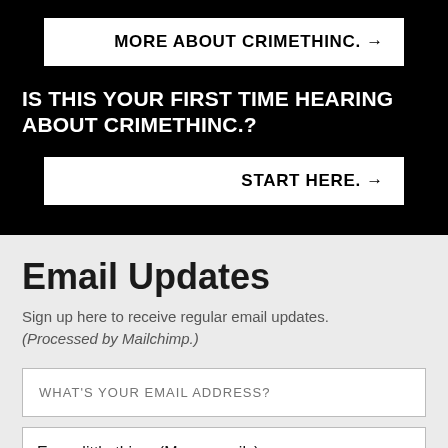MORE ABOUT CRIMETHINC. →
IS THIS YOUR FIRST TIME HEARING ABOUT CRIMETHINC.?
START HERE. →
Email Updates
Sign up here to receive regular email updates. (Processed by Mailchimp.)
WHAT'S YOUR EMAIL ADDRESS?
Every little thing. (Many emails)
SIGN UP